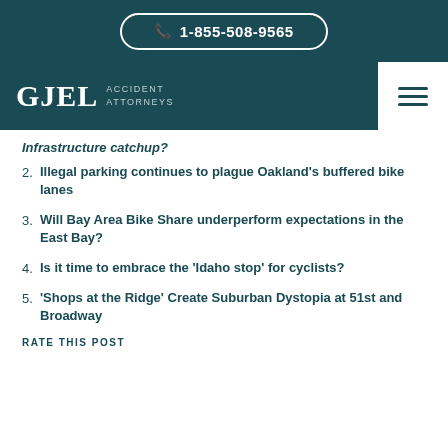📞 1-855-508-9565
GJEL ACCIDENT ATTORNEYS
Infrastructure catchup?
2. Illegal parking continues to plague Oakland's buffered bike lanes
3. Will Bay Area Bike Share underperform expectations in the East Bay?
4. Is it time to embrace the 'Idaho stop' for cyclists?
5. 'Shops at the Ridge' Create Suburban Dystopia at 51st and Broadway
RATE THIS POST